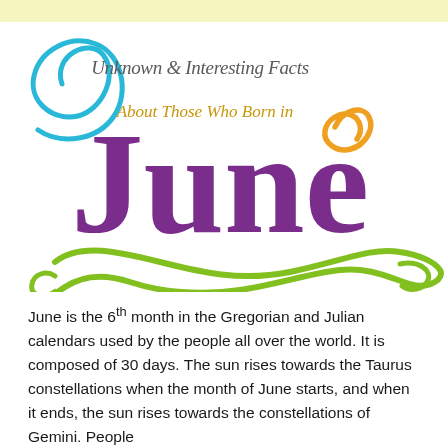[Figure (illustration): Decorative title graphic for 'Unknown & Interesting Facts About Those Who Born in June' with stylized purple 'June' lettering, cyan swirl, orange swirl, and green flourish]
June is the 6th month in the Gregorian and Julian calendars used by the people all over the world. It is composed of 30 days. The sun rises towards the Taurus constellations when the month of June starts, and when it ends, the sun rises towards the constellations of Gemini. People